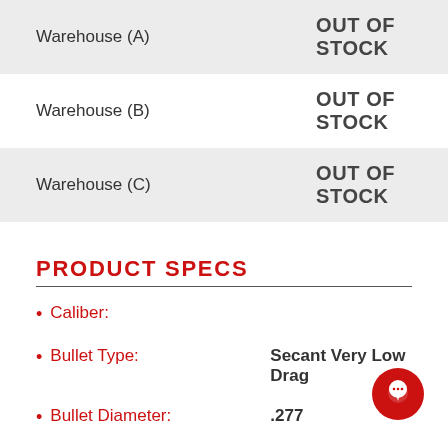| Location | Status |
| --- | --- |
| Warehouse (A) | OUT OF STOCK |
| Warehouse (B) | OUT OF STOCK |
| Warehouse (C) | OUT OF STOCK |
PRODUCT SPECS
Caliber:
Bullet Type: Secant Very Low Drag
Bullet Diameter: .277
Weight: 130 GR
Bullet Caliber: 270 Caliber